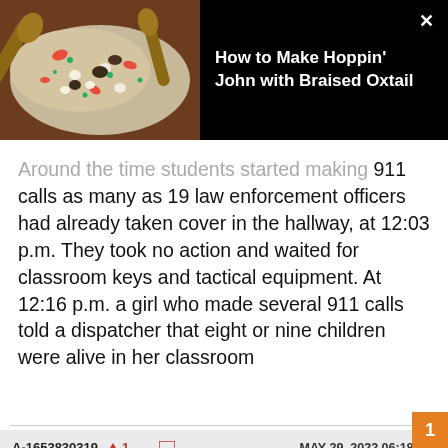[Figure (photo): Food photo showing a bowl of Hoppin' John (rice dish with vegetables) with wooden spoons, alongside a dark overlay card with title text and close button]
Around the time students started making 911 calls as many as 19 law enforcement officers had already taken cover in the hallway, at 12:03 p.m. They took no action and waited for classroom keys and tactical equipment. At 12:16 p.m. a girl who made several 911 calls told a dispatcher that eight or nine children were alive in her classroom
A-1653830319  ^1  v  [flag]  MAY 29, 2022 06:18 AM
Baby, after Columbine, rushing in to stop carnage became the recommended method.